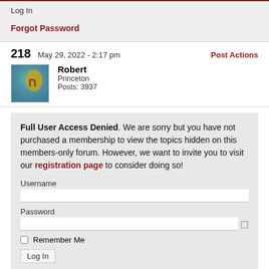Log In
Forgot Password
218  May 29, 2022 - 2:17 pm
Post Actions
[Figure (illustration): User avatar with Hebrew chai symbol on teal/gold background]
Robert
Princeton
Posts: 3937
Full User Access Denied. We are sorry but you have not purchased a membership to view the topics hidden on this members-only forum. However, we want to invite you to visit our registration page to consider doing so!
Username
Password
Remember Me
Log In